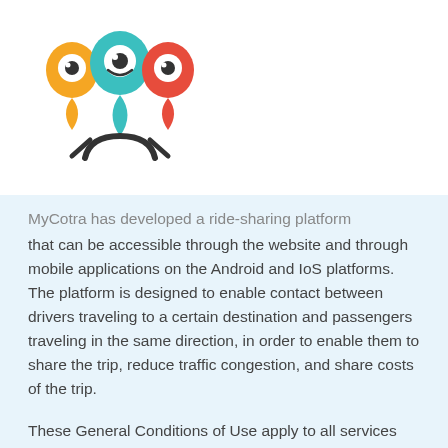[Figure (logo): MyCotra logo with three colorful map pin characters (yellow, teal, red) and a teal person figure below them]
MyCotra has developed a ride-sharing platform that can be accessible through the website and through mobile applications on the Android and IoS platforms. The platform is designed to enable contact between drivers traveling to a certain destination and passengers traveling in the same direction, in order to enable them to share the trip, reduce traffic congestion, and share costs of the trip.
These General Conditions of Use apply to all services provided by MyCotra.